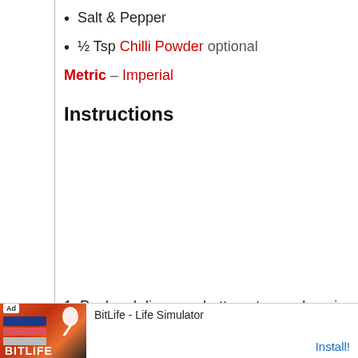Salt & Pepper
½ Tsp Chilli Powder optional
Metric – Imperial
Instructions
1. Peel and dice your butternut squash, onion, and
[Figure (screenshot): Ad banner for BitLife - Life Simulator app with Install button]